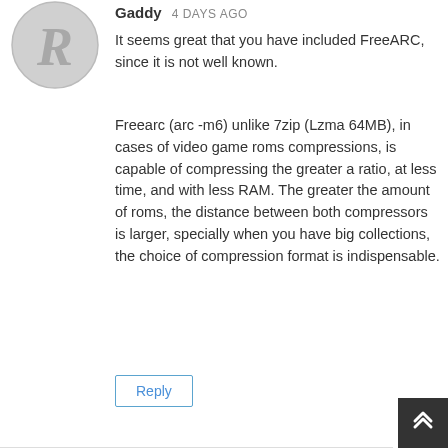[Figure (logo): Circular avatar with stylized letter R on grey background]
Gaddy · 4 DAYS AGO
It seems great that you have included FreeARC, since it is not well known.
Freearc (arc -m6) unlike 7zip (Lzma 64MB), in cases of video game roms compressions, is capable of compressing the greater a ratio, at less time, and with less RAM. The greater the amount of roms, the distance between both compressors is larger, specially when you have big collections, the choice of compression format is indispensable.
Reply